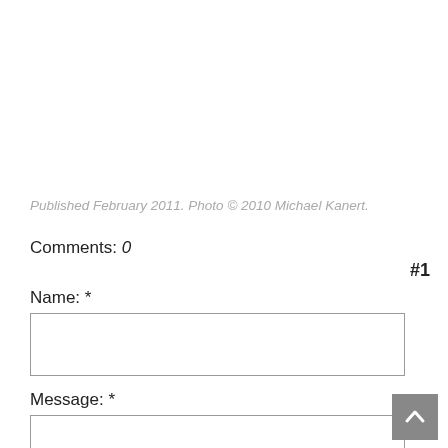Published February 2011. Photo © 2010 Michael Kanert.
Comments: 0
#1
Name: *
Message: *